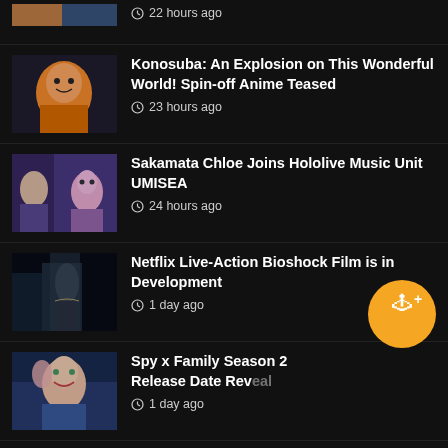22 hours ago
Konosuba: An Explosion on This Wonderful World! Spin-off Anime Teased
23 hours ago
Sakamata Chloe Joins Hololive Music Unit UMISEA
24 hours ago
Netflix Live-Action Bioshock Film is in Development
1 day ago
Spy x Family Season 2 Release Date Revealed
1 day ago
Sony Acquires Savage Game Studios
1 day ago